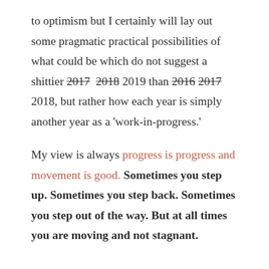to optimism but I certainly will lay out some pragmatic practical possibilities of what could be which do not suggest a shittier 2017 2018 2019 than 2016 2017 2018, but rather how each year is simply another year as a 'work-in-progress.'
My view is always progress is progress and movement is good. Sometimes you step up. Sometimes you step back. Sometimes you step out of the way. But at all times you are moving and not stagnant.